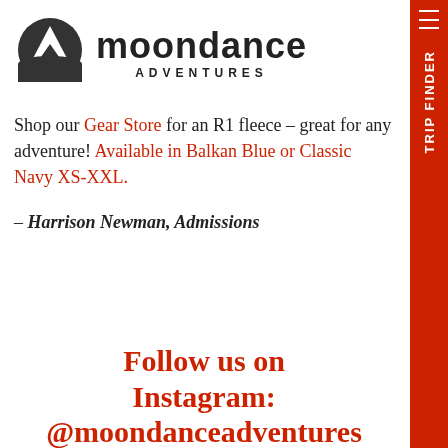[Figure (logo): Moondance Adventures logo with mountain icon and text 'moondance ADVENTURES']
Shop our Gear Store for an R1 fleece – great for any adventure! Available in Balkan Blue or Classic Navy XS-XXL.
– Harrison Newman, Admissions
Follow us on Instagram:
@moondanceadventures